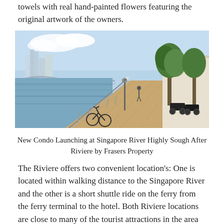towels with real hand-painted flowers featuring the original artwork of the owners.
[Figure (photo): A riverside walkway at Singapore River with bicycles and motorcycles parked along a wooden promenade, trees on the right side, waterway and modern city buildings in the background under a bright blue sky.]
New Condo Launching at Singapore River Highly Sough After Riviere by Frasers Property
The Riviere offers two convenient location's: One is located within walking distance to the Singapore River and the other is a short shuttle ride on the ferry from the ferry terminal to the hotel. Both Riviere locations are close to many of the tourist attractions in the area and are close to major bus and train stations. The